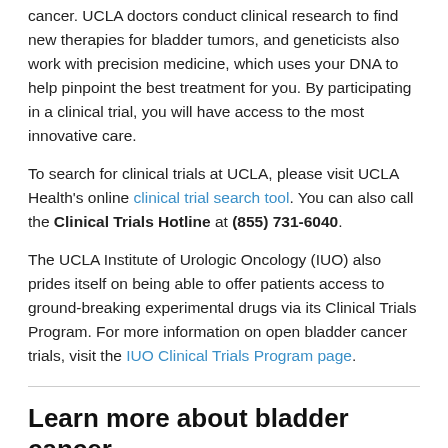cancer. UCLA doctors conduct clinical research to find new therapies for bladder tumors, and geneticists also work with precision medicine, which uses your DNA to help pinpoint the best treatment for you. By participating in a clinical trial, you will have access to the most innovative care.
To search for clinical trials at UCLA, please visit UCLA Health's online clinical trial search tool. You can also call the Clinical Trials Hotline at (855) 731-6040.
The UCLA Institute of Urologic Oncology (IUO) also prides itself on being able to offer patients access to ground-breaking experimental drugs via its Clinical Trials Program. For more information on open bladder cancer trials, visit the IUO Clinical Trials Program page.
Learn more about bladder cancer
For more information about bladder cancer and its symptoms, risk